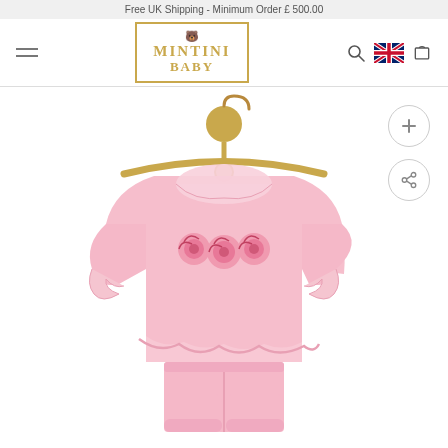Free UK Shipping - Minimum Order £ 500.00
[Figure (logo): Mintini Baby logo in gold with teddy bear icon inside a gold-bordered rectangle]
[Figure (photo): Pink baby two-piece outfit (ruffled top with 3D floral appliqué and peter pan collar, with matching pink trousers) displayed on a wooden hanger with a round gold top knob, on a white background. Zoom (+) and share icons visible on the right side.]